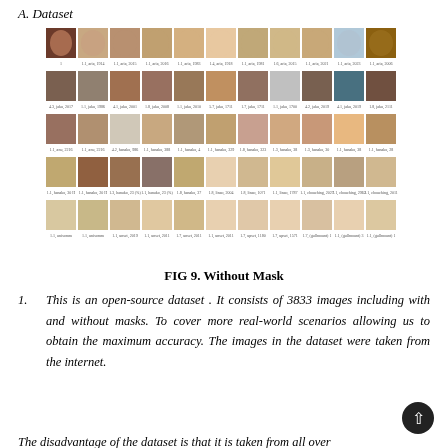A. Dataset
[Figure (photo): Grid of face images without masks, arranged in 5 rows of 11 images each, with small labels beneath each image]
FIG 9. Without Mask
This is an open-source dataset . It consists of 3833 images including with and without masks. To cover more real-world scenarios allowing us to obtain the maximum accuracy. The images in the dataset were taken from the internet.
The disadvantage of the dataset is that it is taken from all over